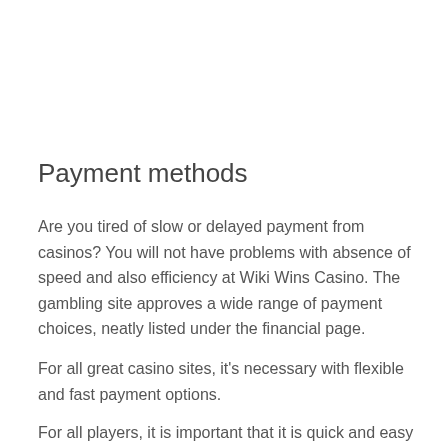Payment methods
Are you tired of slow or delayed payment from casinos? You will not have problems with absence of speed and also efficiency at Wiki Wins Casino. The gambling site approves a wide range of payment choices, neatly listed under the financial page.
For all great casino sites, it's necessary with flexible and fast payment options.
For all players, it is important that it is quick and easy to